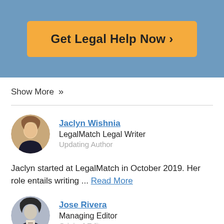[Figure (other): Blue banner with orange CTA button labeled 'Get Legal Help Now >']
Show More »
Jaclyn Wishnia
LegalMatch Legal Writer
Updating Author
Jaclyn started at LegalMatch in October 2019. Her role entails writing ... Read More
Jose Rivera
Managing Editor
Original Editor
Jose Rivera
Managing Editor